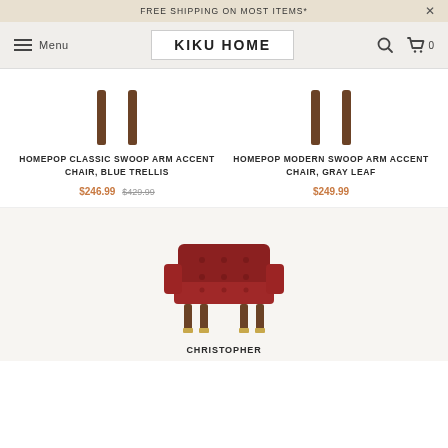FREE SHIPPING ON MOST ITEMS*
[Figure (screenshot): Kiku Home website navigation bar with hamburger menu, logo, search icon, and cart icon showing 0 items]
[Figure (photo): Partial view of two accent chairs showing wooden legs - left chair has blue trellis fabric, right chair has gray leaf fabric]
HOMEPOP CLASSIC SWOOP ARM ACCENT CHAIR, BLUE TRELLIS
$246.99 $429.99
HOMEPOP MODERN SWOOP ARM ACCENT CHAIR, GRAY LEAF
$249.99
[Figure (photo): Red/burgundy velvet accent chair with tufted back and seat, wooden legs with gold-tipped feet]
CHRISTOPHER